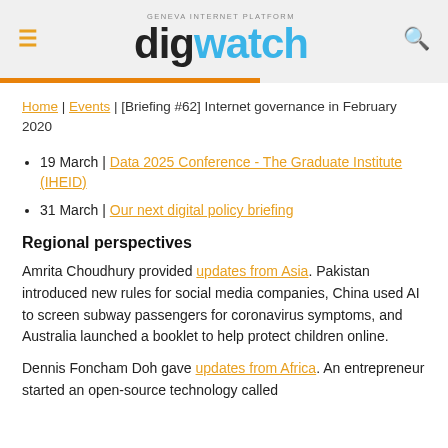digwatch — GENEVA INTERNET PLATFORM
Home | Events | [Briefing #62] Internet governance in February 2020
19 March | Data 2025 Conference - The Graduate Institute (IHEID)
31 March | Our next digital policy briefing
Regional perspectives
Amrita Choudhury provided updates from Asia. Pakistan introduced new rules for social media companies, China used AI to screen subway passengers for coronavirus symptoms, and Australia launched a booklet to help protect children online.
Dennis Foncham Doh gave updates from Africa. An entrepreneur started an open-source technology called